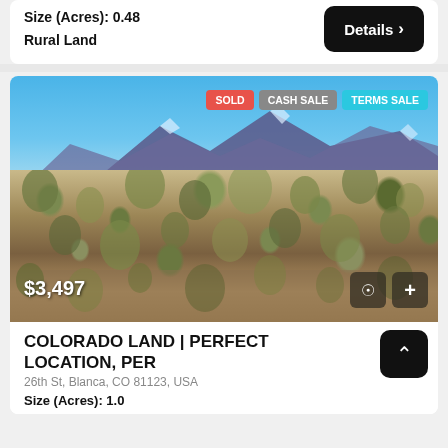Size (Acres): 0.48
Rural Land
[Figure (photo): Outdoor rural landscape photo showing high desert scrubland with sagebrush, a mountain range in the background, and a blue sky. Badges overlay: SOLD, CASH SALE, TERMS SALE. Price $3,497 in bottom left. Camera and plus icon buttons bottom right.]
COLORADO LAND | PERFECT LOCATION, PER
26th St, Blanca, CO 81123, USA
Size (Acres): 1.0